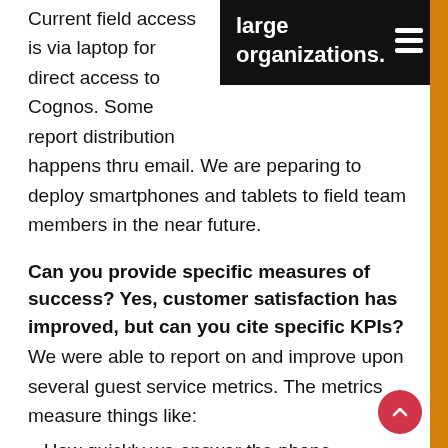Current field access is via laptop for direct access to Cognos. Some report distribution happens thru email. We are peparing to deploy smartphones and tablets to field team members in the near future.
[Figure (other): Black callout/tooltip box with text 'large organizations.' and a hamburger menu icon on the right]
Can you provide specific measures of success? Yes, customer satisfaction has improved, but can you cite specific KPIs? We were able to report on and improve upon several guest service metrics. The metrics measure things like:
How quickly we answer the phone